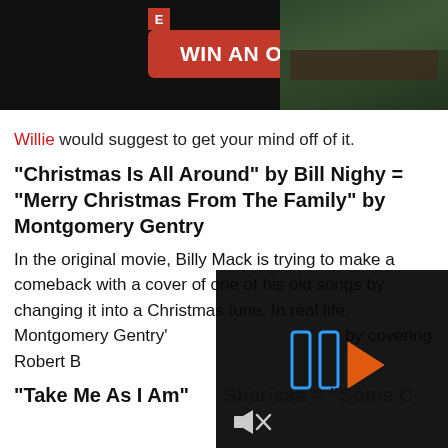[Figure (screenshot): Advertisement banner with dark background showing 'WIN AN OZARK CABIN' button in red and a cabin photo on the right]
Willie would suggest to get your mind off of it.
“Christmas Is All Around” by Bill Nighy = “Merry Christmas From The Family” by Montgomery Gentry
In the original movie, Billy Mack is trying to make a comeback with a cover of one of his old songs by changing it into a Christmas tune. In real life, Montgomery Gentry’s by covering Robert B
“Take Me As I Am” Sharissa = “Some C
[Figure (screenshot): Dark video player overlay with blue double-bar pause icon, blue triangle play arrow, and mute/speaker icon at bottom left]